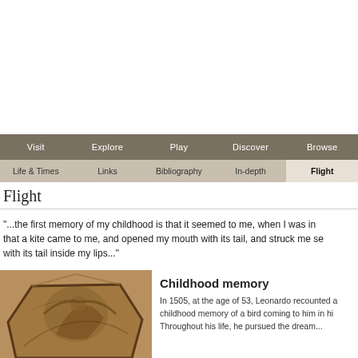Visit | Explore | Play | Discover | Browse
Life & Times | Links | Bibliography | In-depth | Flight
Flight
"...the first memory of my childhood is that it seemed to me, when I was in my cradle, that a kite came to me, and opened my mouth with its tail, and struck me several times with its tail inside my lips..."
Childhood memory
In 1505, at the age of 53, Leonardo recounted a childhood memory of a bird coming to him in his cradle. Throughout his life, he pursued the dream...
[Figure (photo): A carved stone or terracotta relief plaque showing a scene in relief, triangular/hexagonal shape, brown/terracotta color]